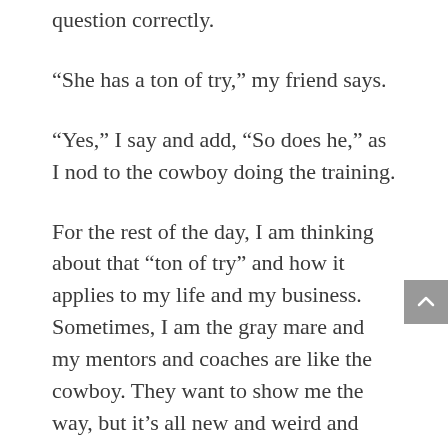question correctly.
“She has a ton of try,” my friend says.
“Yes,” I say and add, “So does he,” as I nod to the cowboy doing the training.
For the rest of the day, I am thinking about that “ton of try” and how it applies to my life and my business. Sometimes, I am the gray mare and my mentors and coaches are like the cowboy. They want to show me the way, but it’s all new and weird and perhaps I don’t have the vocabulary yet to speak their same language. What they’re saying doesn’t make sense to me. In those moments, I need to get